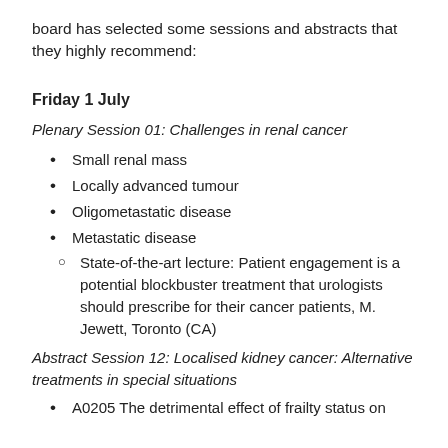board has selected some sessions and abstracts that they highly recommend:
Friday 1 July
Plenary Session 01: Challenges in renal cancer
Small renal mass
Locally advanced tumour
Oligometastatic disease
Metastatic disease
State-of-the-art lecture: Patient engagement is a potential blockbuster treatment that urologists should prescribe for their cancer patients, M. Jewett, Toronto (CA)
Abstract Session 12: Localised kidney cancer: Alternative treatments in special situations
A0205 The detrimental effect of frailty status on